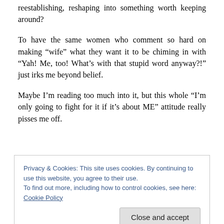reestablishing, reshaping into something worth keeping around?
To have the same women who comment so hard on making “wife” what they want it to be chiming in with “Yah! Me, too! What’s with that stupid word anyway?!” just irks me beyond belief.
Maybe I’m reading too much into it, but this whole “I’m only going to fight for it if it’s about ME” attitude really pisses me off.
Privacy & Cookies: This site uses cookies. By continuing to use this website, you agree to their use.
To find out more, including how to control cookies, see here: Cookie Policy
Close and accept